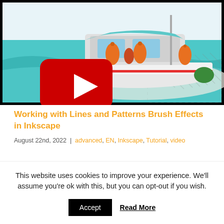[Figure (screenshot): Video thumbnail showing a colorful illustrated fishing boat on teal water with orange buoys; a large red YouTube play button overlaid on the lower left.]
Working with Lines and Patterns Brush Effects in Inkscape
August 22nd, 2022 | advanced, EN, Inkscape, Tutorial, video
This website uses cookies to improve your experience. We'll assume you're ok with this, but you can opt-out if you wish.
Accept   Read More